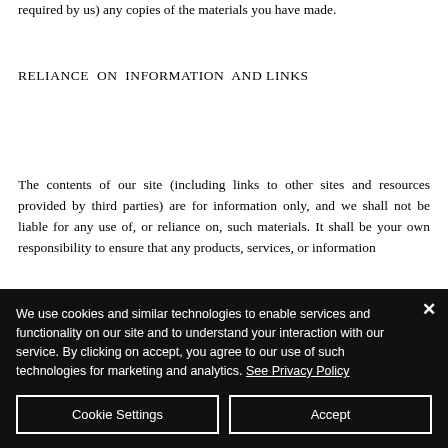required by us) any copies of the materials you have made.
RELIANCE ON INFORMATION AND LINKS
The contents of our site (including links to other sites and resources provided by third parties) are for information only, and we shall not be liable for any use of, or reliance on, such materials. It shall be your own responsibility to ensure that any products, services, or information
We use cookies and similar technologies to enable services and functionality on our site and to understand your interaction with our service. By clicking on accept, you agree to our use of such technologies for marketing and analytics. See Privacy Policy
Cookie Settings
Accept